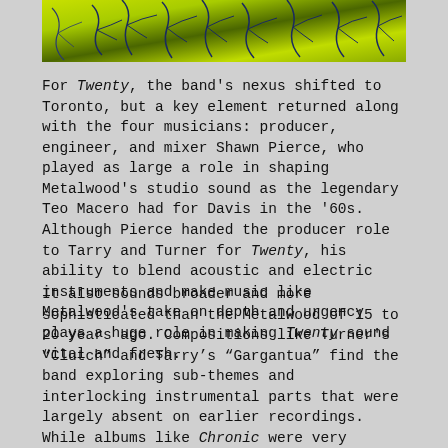[Figure (photo): Yellow and dark blue/green abstract image resembling tree branches or foliage, serving as album or article header image.]
For Twenty, the band's nexus shifted to Toronto, but a key element returned along with the four musicians: producer, engineer, and mixer Shawn Pierce, who played as large a role in shaping Metalwood's studio sound as the legendary Teo Macero had for Davis in the '60s. Although Pierce handed the producer role to Tarry and Turner for Twenty, his ability to blend acoustic and electric instruments and make music like Metalwood's take on depth and urgency plays a huge role in making Twenty sound vital and fresh.
It also sounds broader and more sophisticated than the Metalwood of 15 to 20 years ago. Compositions like Turner's “Clutch” and Tarry’s “Gargantua” find the band exploring sub-themes and interlocking instrumental parts that were largely absent on earlier recordings. While albums like Chronic were very focused on riff-based, highly rhythmic tunes, Twenty also includes more atmospheric explorations without completely losing the